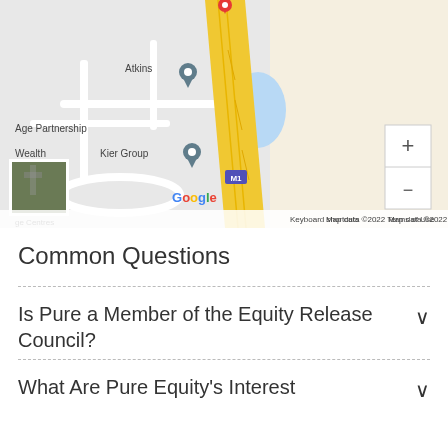[Figure (map): Google Maps screenshot showing location near Atkins, Age Partnership, Wealth, and Kier Group offices near the M1 motorway. Shows a Google Maps interface with zoom controls, a red pin marker, grey location pins, blue water feature, yellow M1 motorway, Google logo, and map attribution including 'Keyboard shortcuts', 'Map data ©2022', 'Terms of Use'.]
Common Questions
Is Pure a Member of the Equity Release Council?
What Are Pure Equity's Interest